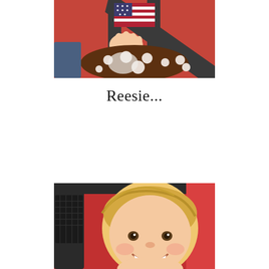[Figure (photo): Close-up photo of a baby/toddler in a red outfit with an American flag graphic, secured in a car seat with dark straps, holding a brown and white polka dot blanket or toy.]
Reesie...
[Figure (photo): Photo of a smiling young blonde boy sitting in a red stroller or car seat, looking up at the camera with a big grin.]